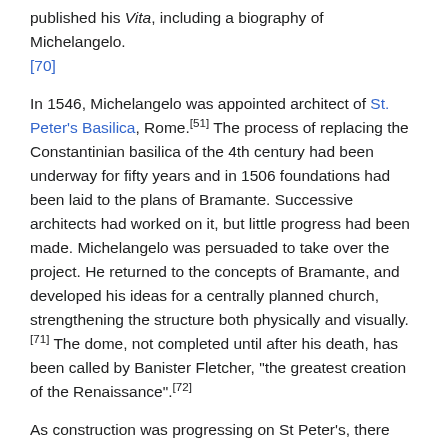published his Vita, including a biography of Michelangelo.[70]
In 1546, Michelangelo was appointed architect of St. Peter's Basilica, Rome.[51] The process of replacing the Constantinian basilica of the 4th century had been underway for fifty years and in 1506 foundations had been laid to the plans of Bramante. Successive architects had worked on it, but little progress had been made. Michelangelo was persuaded to take over the project. He returned to the concepts of Bramante, and developed his ideas for a centrally planned church, strengthening the structure both physically and visually.[71] The dome, not completed until after his death, has been called by Banister Fletcher, "the greatest creation of the Renaissance".[72]
As construction was progressing on St Peter's, there was concern that Michelangelo would pass away before the dome was finished. However, once building commenced on the lower part of the dome, the supporting ring, the completion of the design was inevitable.